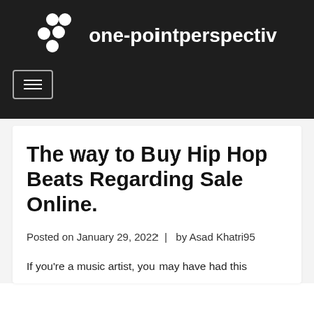one-pointperspectiv
The way to Buy Hip Hop Beats Regarding Sale Online.
Posted on January 29, 2022  |  by Asad Khatri95
If you're a music artist, you may have had this